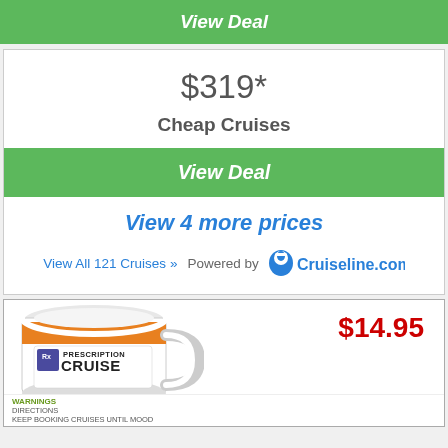View Deal
$319*
Cheap Cruises
View Deal
View 4 more prices
View All 121 Cruises »  Powered by  Cruiseline.com
[Figure (photo): A white ceramic mug with orange band and Prescription Cruise label, priced at $14.95]
$14.95
PRESCRIPTION CRUISE
WARNINGS
DIRECTIONS
KEEP BOOKING CRUISES UNTIL MOOD IMPROVES